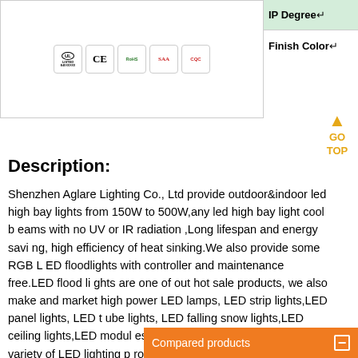[Figure (illustration): Certification logos: UL, CE, RoHS, SAA, CQC displayed in a bordered box]
| IP Degree | Finish Color |
| --- | --- |
Description:
Shenzhen Aglare Lighting Co., Ltd provide outdoor&indoor led high bay lights from 150W to 500W,any led high bay light cool beams with no UV or IR radiation ,Long lifespan and energy saving, high efficiency of heat sinking.We also provide some RGB LED floodlights with controller and maintenance free.LED flood lights are one of out hot sale products, we also make and market high power LED lamps, LED strip lights,LED panel lights, LED tube lights, LED falling snow lights,LED ceiling lights,LED modules,amusement LED lamp, and other variety of LED lighting products, which are widely applied in backlight, decoration and illumination.
Compared products